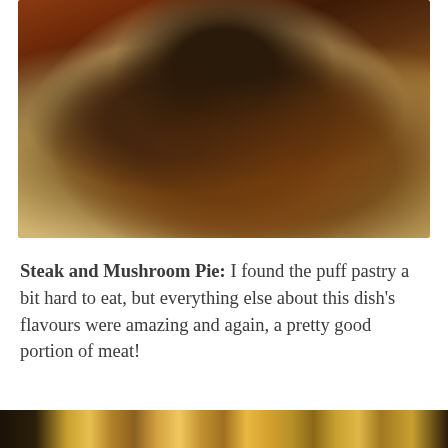[Figure (photo): Close-up photo of a Steak and Mushroom Pie dish — a piece of steak with dark mushroom on top, sitting on a round puff pastry base, drizzled with rich dark brown sauce, on a white plate.]
Steak and Mushroom Pie: I found the puff pastry a bit hard to eat, but everything else about this dish's flavours were amazing and again, a pretty good portion of meat!
[Figure (photo): Partial strip of food photos visible at the very bottom of the page.]